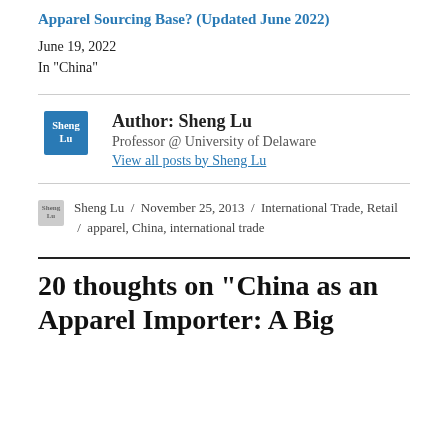Apparel Sourcing Base? (Updated June 2022)
June 19, 2022
In "China"
Author: Sheng Lu
Professor @ University of Delaware
View all posts by Sheng Lu
Sheng Lu / November 25, 2013 / International Trade, Retail / apparel, China, international trade
20 thoughts on “China as an Apparel Importer: A Big